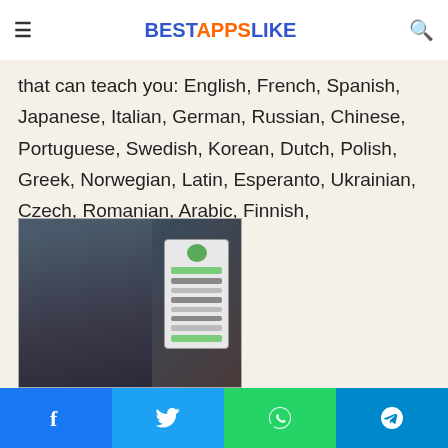BESTAPPSLIKE
that can teach you: English, French, Spanish, Japanese, Italian, German, Russian, Chinese, Portuguese, Swedish, Korean, Dutch, Polish, Greek, Norwegian, Latin, Esperanto, Ukrainian, Czech, Romanian, Arabic, Finnish,
[Figure (photo): Photo of a young woman in a gym setting with a phone/app screen overlay showing a language learning interface]
Similarity Rate : 31 %  –
Similar Apps